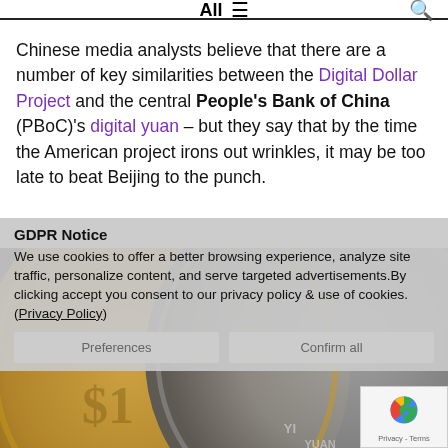All ≡  🔍
Chinese media analysts believe that there are a number of key similarities between the Digital Dollar Project and the central People's Bank of China (PBoC)'s digital yuan – but they say that by the time the American project irons out wrinkles, it may be too late to beat Beijing to the punch.
GDPR Notice
We use cookies to offer a better browsing experience, analyze site traffic, personalize content, and serve targeted advertisements.By clicking accept you consent to our privacy policy & use of cookies. (Privacy Policy)
[Figure (photo): Close-up photograph of two coins side by side: a golden US dollar coin featuring the Statue of Liberty, and a silver Chinese Yi Yuan coin.]